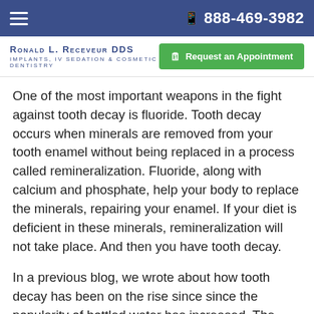☰   📱 888-469-3982
Ronald L. Receveur DDS — Implants, IV Sedation & Cosmetic Dentistry | Request an Appointment
One of the most important weapons in the fight against tooth decay is fluoride. Tooth decay occurs when minerals are removed from your tooth enamel without being replaced in a process called remineralization. Fluoride, along with calcium and phosphate, help your body to replace the minerals, repairing your enamel. If your diet is deficient in these minerals, remineralization will not take place. And then you have tooth decay.
In a previous blog, we wrote about how tooth decay has been on the rise since since the popularity of bottled water has increased. The reason behind this is the lack of fluoride in bottled water. We have come to depend fluoridated water to protect our teeth. So, if you aren't getting fluoride from your water, you need to be getting it from somewhere else.